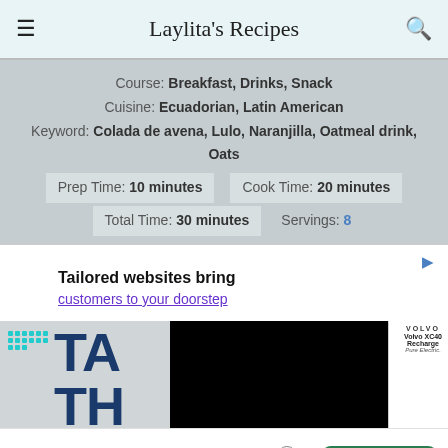Laylita's Recipes
Course: Breakfast, Drinks, Snack
Cuisine: Ecuadorian, Latin American
Keyword: Colada de avena, Lulo, Naranjilla, Oatmeal drink, Oats
Prep Time: 10 minutes  Cook Time: 20 minutes
Total Time: 30 minutes  Servings: 8
[Figure (screenshot): Advertisement area showing 'Tailored websites bring customers to your doorstep' ad and a Volvo XC40 Recharge Pure Electric ad overlay, plus a Tally 'Fast credit card payoff' bottom banner ad.]